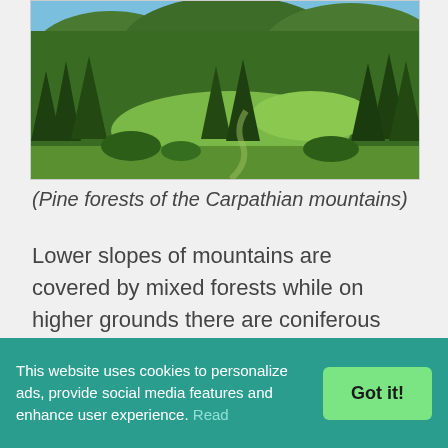[Figure (photo): Aerial/landscape view of pine forests on the slopes of the Carpathian mountains with green meadows and dense coniferous trees]
(Pine forests of the Carpathian mountains)
Lower slopes of mountains are covered by mixed forests while on higher grounds there are coniferous woods of fir, spruce and pine. In addition there are some locations with ecologically clean mushrooms, berries and medicinal plants. Alpine valleys there are
This website uses cookies to personalize ads, provide social media features and enhance user experience. Read
Got it!